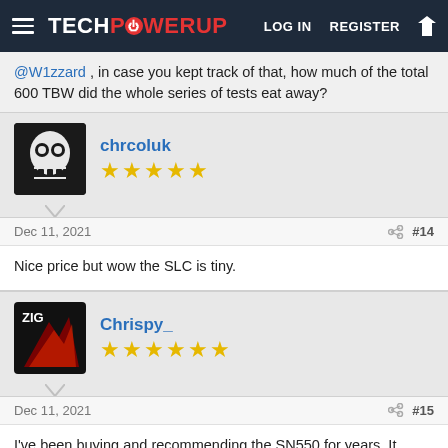TECHPOWERUP | LOG IN | REGISTER
@W1zzard , in case you kept track of that, how much of the total 600 TBW did the whole series of tests eat away?
chrcoluk ★★★★★
Dec 11, 2021  #14
Nice price but wow the SLC is tiny.
Chrispy_ ★★★★★★
Dec 11, 2021  #15
I've been buying and recommending the SN550 for years. It wasn't the fastest but decent warranty, fast enough, and always competitive pricing.